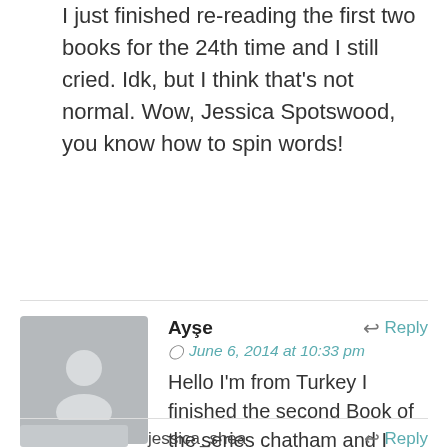I just finished re-reading the first two books for the 24th time and I still cried. Idk, but I think that's not normal. Wow, Jessica Spotswood, you know how to spin words!
Ayşe
June 6, 2014 at 10:33 pm
Hello I'm from Turkey I finished the second Book of the series chatham and I look forward to be translated the third Book in turkish I reaally like your books Thanks
jessica_shea